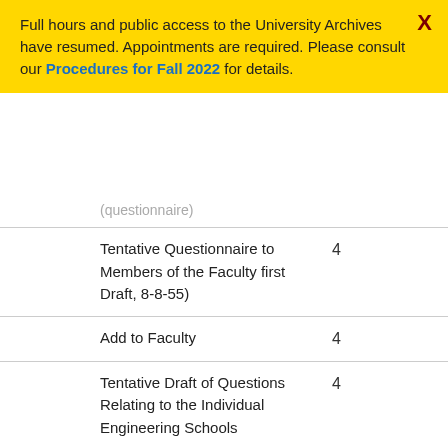Full hours and public access to the University Archives have resumed. Appointments are required. Please consult our Procedures for Fall 2022 for details.
| Item | Count |
| --- | --- |
| (questionnaire) |  |
| Tentative Questionnaire to Members of the Faculty first Draft, 8-8-55) | 4 |
| Add to Faculty | 4 |
| Tentative Draft of Questions Relating to the Individual Engineering Schools | 4 |
| Tentative | 4 |